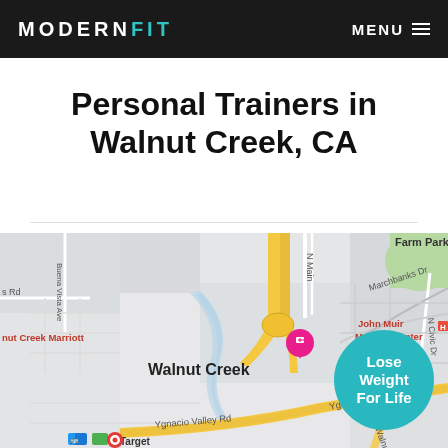MODERNFIT  MENU
Personal Trainers in Walnut Creek, CA
[Figure (map): Google Maps view of Walnut Creek, CA area showing streets including N Main, N Civic Dr, Ygnacio Valley Rd, Marchbanks Dr, Buena Vista Ave, landmarks including Walnut Creek Marriott (pink pin), John Muir Medical Center, Farm Park, and Target. Yellow roads indicate major roads/highways.]